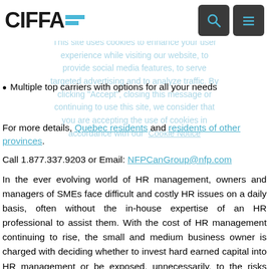[Figure (logo): CIFFA logo with blue horizontal bars and two dark navigation icon buttons (search and menu)]
This site uses cookies to enhance your user experience while visiting our website, to provide social media features, to serve targeted advertising and to analyze traffic. By clicking "Accept", closing this message or continuing to use this site, we consider that you are accepting the use of cookies in accordance with our Cookie Notice
Multiple top carriers with options for all your needs
For more details, Quebec residents and residents of other provinces.
Call 1.877.337.9203 or Email: NFPCanGroup@nfp.com
In the ever evolving world of HR management, owners and managers of SMEs face difficult and costly HR issues on a daily basis, often without the in-house expertise of an HR professional to assist them. With the cost of HR management continuing to rise, the small and medium business owner is charged with deciding whether to invest hard earned capital into HR management or be exposed, unnecessarily, to the risks associated with non-compliance